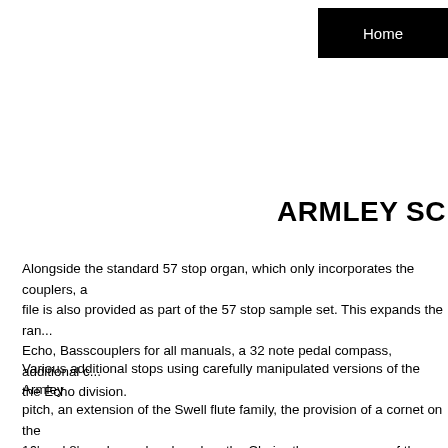Home
ARMLEY SC
Alongside the standard 57 stop organ, which only incorporates the couplers, a file is also provided as part of the 57 stop sample set. This expands the range to include Echo, Basscouplers for all manuals, a 32 note pedal compass, additional c... the Echo division.
Various additional stops using carefully manipulated versions of the Armley... pitch, an extension of the Swell flute family, the provision of a cornet on the... 16' and 8' reeds can be played on the Choir - the appearance of the Great T... The standard and enhanced organs are available in single-channel (Chanc...
A comprehensive range of control options is available in the Settings screen...